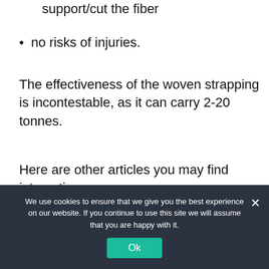no need to use special tools to support/cut the fiber
no risks of injuries.
The effectiveness of the woven strapping is incontestable, as it can carry 2-20 tonnes.
Here are other articles you may find interesting:
[Figure (photo): Photo of power line tower against sky]
[Figure (photo): Photo of cable car or aerial ropeway against blue sky]
We use cookies to ensure that we give you the best experience on our website. If you continue to use this site we will assume that you are happy with it.